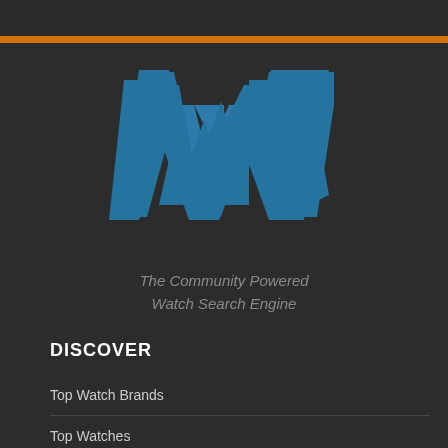[Figure (logo): Stylized blue W logo for a watch search engine community website]
The Community Powered Watch Search Engine
DISCOVER
Top Watch Brands
Top Watches
Top Quartz Watches